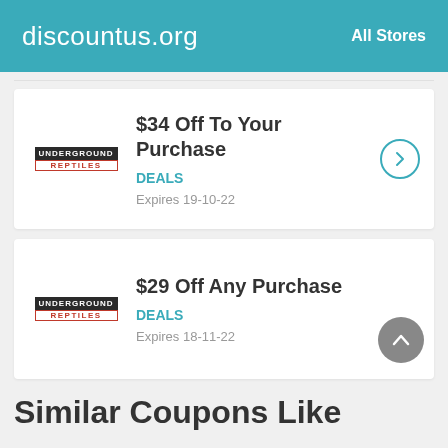discountus.org    All Stores
$34 Off To Your Purchase
DEALS
Expires 19-10-22
$29 Off Any Purchase
DEALS
Expires 18-11-22
Similar Coupons Like